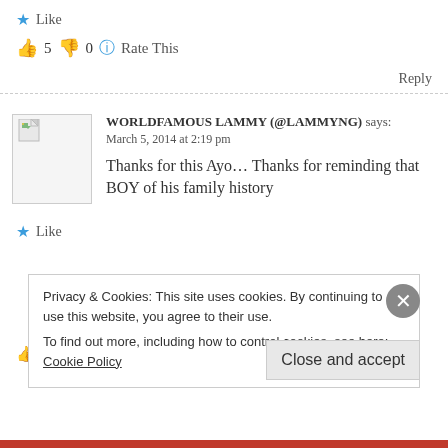★ Like
👍 5 👎 0 ℹ Rate This
Reply
WORLDFAMOUS LAMMY (@LAMMYNG) says: March 5, 2014 at 2:19 pm
Thanks for this Ayo... Thanks for reminding that BOY of his family history
★ Like
Privacy & Cookies: This site uses cookies. By continuing to use this website, you agree to their use. To find out more, including how to control cookies, see here: Cookie Policy
Close and accept